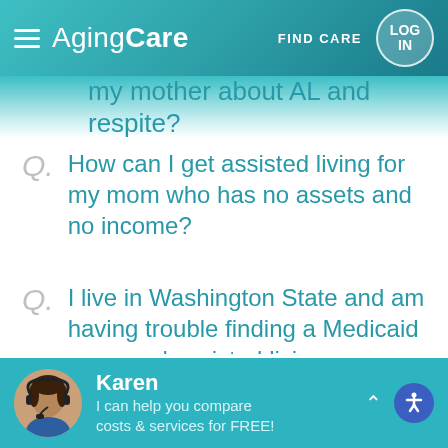AgingCare — FIND CARE — LOG IN
my mother about AL and respite?
Q. How can I get assisted living for my mom who has no assets and no income?
Q. I live in Washington State and am having trouble finding a Medicaid approved assisted living community in Western Washington. What do I do?
Popular Questions
Karen — I can help you compare costs & services for FREE!